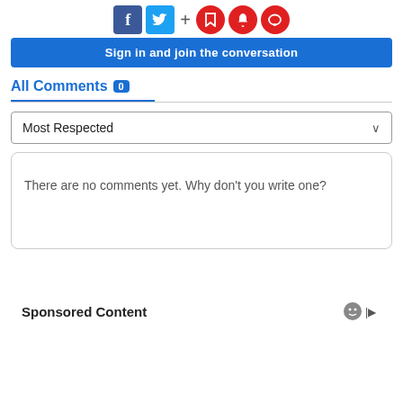[Figure (infographic): Social media icons: Facebook (blue square), Twitter (light blue square), plus sign, and three red circle icons (bookmark, bell, chat)]
Sign in and join the conversation
All Comments 0
Most Respected
There are no comments yet. Why don't you write one?
Sponsored Content